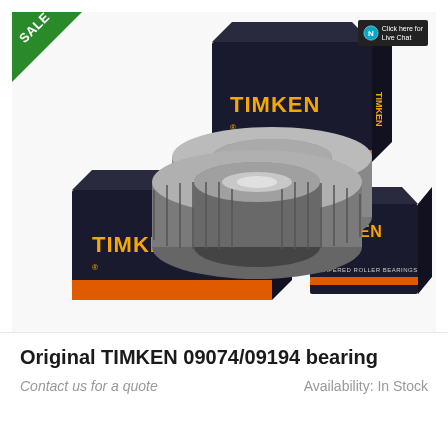[Figure (photo): TIMKEN tapered roller bearings (09074/09194) shown with two metal bearing assemblies and three black and orange TIMKEN branded boxes, one large box top center, one large box bottom left, and one small box bottom right. A green SALE corner badge is in the top-left. A live chat badge is in the top-right corner.]
Original TIMKEN 09074/09194 bearing
Contact us for a quote
Availability: In Stock